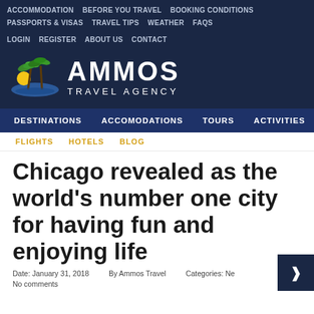ACCOMMODATION   BEFORE YOU TRAVEL   BOOKING CONDITIONS   PASSPORTS & VISAS   TRAVEL TIPS   WEATHER   FAQS   LOGIN   REGISTER   ABOUT US   CONTACT
[Figure (logo): Ammos Travel Agency logo with palm trees and sun graphic]
DESTINATIONS   ACCOMODATIONS   TOURS   ACTIVITIES   CRUISES
FLIGHTS   HOTELS   BLOG
Chicago revealed as the world's number one city for having fun and enjoying life
Date: January 31, 2018   By Ammos Travel   Categories: Ne...
No comments